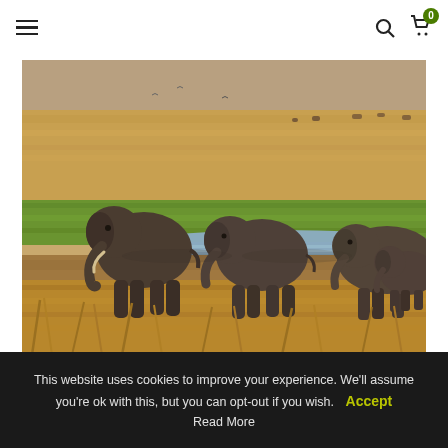Navigation bar with hamburger menu, search icon, and cart icon with badge 0
[Figure (photo): A herd of elephants walking along the edge of a watering hole on the African savanna. The background shows vast golden grasslands and a strip of green grass and shallow water. Several adult and juvenile elephants are visible.]
This website uses cookies to improve your experience. We'll assume you're ok with this, but you can opt-out if you wish. Accept
Read More